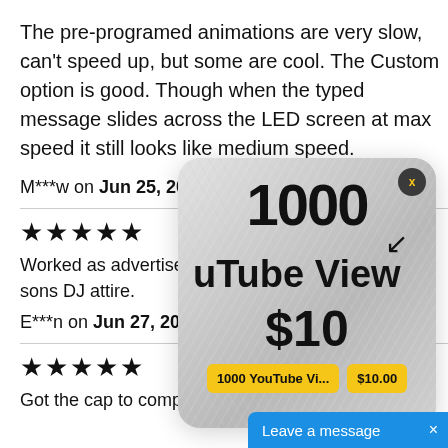The pre-programed animations are very slow, can't speed up, but some are cool. The Custom option is good. Though when the typed message slides across the LED screen at max speed it still looks like medium speed.
M***w on Jun 25, 202
★★★★★
Worked as advertised sons DJ attire.
E***n on Jun 27, 20
[Figure (screenshot): Popup advertisement showing '1000 YouTube Views $10' with a close button, a bird/arrow icon, two yellow buttons labeled '1000 YouTube Vi...' and '$10.00']
★★★★★
Got the cap to complete my p
Leave a message ×